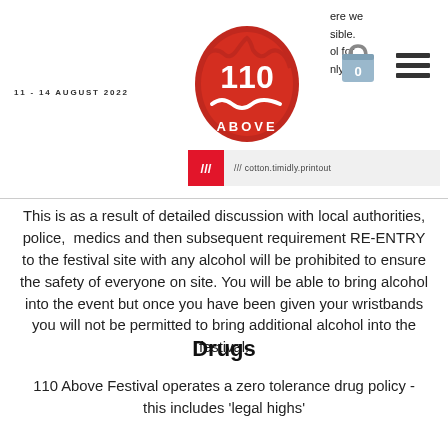11 - 14 AUGUST 2022
[Figure (logo): 110 Above festival logo - red badge with '110' and 'ABOVE' text and wavy lines]
[Figure (illustration): Shopping bag icon with '0' label]
[Figure (illustration): Hamburger menu icon (three horizontal lines)]
[Figure (other): What3words widget showing '/// cotton.timidly.printout']
This is as a result of detailed discussion with local authorities, police, medics and then subsequent requirement RE-ENTRY to the festival site with any alcohol will be prohibited to ensure the safety of everyone on site. You will be able to bring alcohol into the event but once you have been given your wristbands you will not be permitted to bring additional alcohol into the festival.
Drugs
110 Above Festival operates a zero tolerance drug policy - this includes 'legal highs'